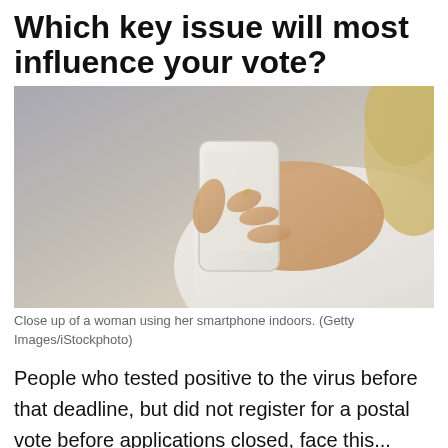Which key issue will most influence your vote?
[Figure (photo): Close up of a woman using her smartphone indoors, woman in white shirt holding a phone with both hands, blurred grey background.]
Close up of a woman using her smartphone indoors. (Getty Images/iStockphoto)
People who tested positive to the virus before that deadline, but did not register for a postal vote before applications closed, face this...